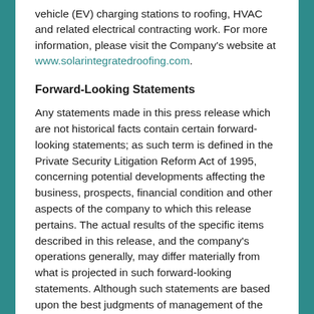vehicle (EV) charging stations to roofing, HVAC and related electrical contracting work. For more information, please visit the Company's website at www.solarintegratedroofing.com.
Forward-Looking Statements
Any statements made in this press release which are not historical facts contain certain forward-looking statements; as such term is defined in the Private Security Litigation Reform Act of 1995, concerning potential developments affecting the business, prospects, financial condition and other aspects of the company to which this release pertains. The actual results of the specific items described in this release, and the company's operations generally, may differ materially from what is projected in such forward-looking statements. Although such statements are based upon the best judgments of management of the company as of the date of this release, significant